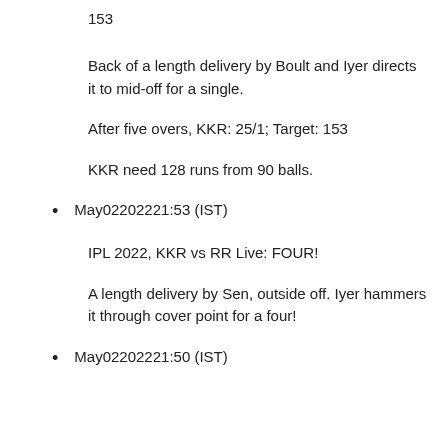153
Back of a length delivery by Boult and Iyer directs it to mid-off for a single.
After five overs, KKR: 25/1; Target: 153
KKR need 128 runs from 90 balls.
May02202221:53 (IST)
IPL 2022, KKR vs RR Live: FOUR!
A length delivery by Sen, outside off. Iyer hammers it through cover point for a four!
May02202221:50 (IST)